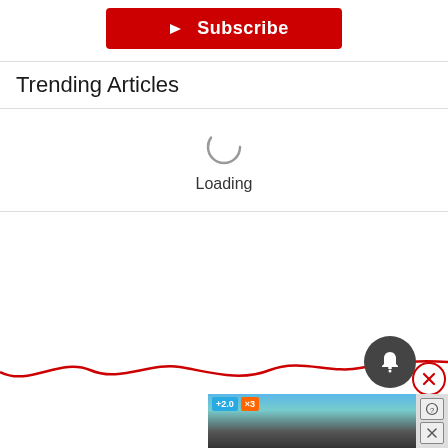[Figure (screenshot): YouTube Subscribe button with red background, white play icon, and white 'Subscribe' text]
Trending Articles
[Figure (screenshot): Loading spinner circle with 'Loading' text below]
[Figure (screenshot): Dark gray circular bell/notification button and a red-circled X close button at bottom right, with a red wavy line and partial ad banner at bottom]